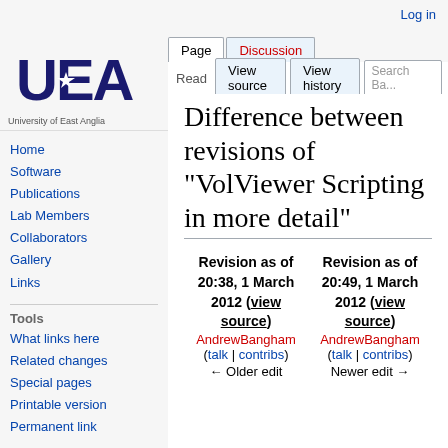Log in
[Figure (logo): University of East Anglia (UEA) logo with stylized letters and star]
Page | Discussion | Read | View source | View history | Search Ba...
Difference between revisions of "VolViewer Scripting in more detail"
Home
Software
Publications
Lab Members
Collaborators
Gallery
Links
Tools
What links here
Related changes
Special pages
Printable version
Permanent link
| Revision as of 20:38, 1 March 2012 (view source) | Revision as of 20:49, 1 March 2012 (view source) |
| --- | --- |
| AndrewBangham (talk | contribs) | AndrewBangham (talk | contribs) |
| ← Older edit | Newer edit → |